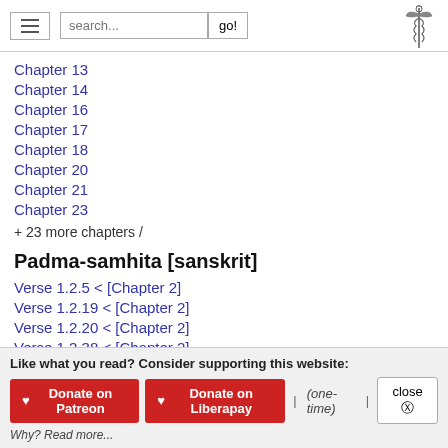Navigation header with hamburger menu, search box, go button, and caduceus logo
Chapter 13
Chapter 14
Chapter 16
Chapter 17
Chapter 18
Chapter 20
Chapter 21
Chapter 23
+ 23 more chapters /
Padma-samhita [sanskrit]
Verse 1.2.5 < [Chapter 2]
Verse 1.2.19 < [Chapter 2]
Verse 1.2.20 < [Chapter 2]
Verse 1.2.38 < [Chapter 2]
Verse 1.3.31 < [Chapter 3]
Like what you read? Consider supporting this website: ♥ Donate on Patreon  ♥ Donate on Liberapay | (one-time) | close ⊗  Why? Read more...